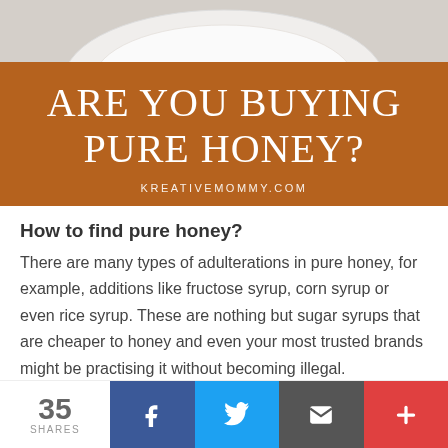[Figure (photo): Partial view of a white plate/bowl from above, light gray background]
ARE YOU BUYING PURE HONEY?
KREATIVEMOMMY.COM
How to find pure honey?
There are many types of adulterations in pure honey, for example, additions like fructose syrup, corn syrup or even rice syrup. These are nothing but sugar syrups that are cheaper to honey and even your most trusted brands might be practising it without becoming illegal.
35 SHARES | Facebook | Twitter | Email | +